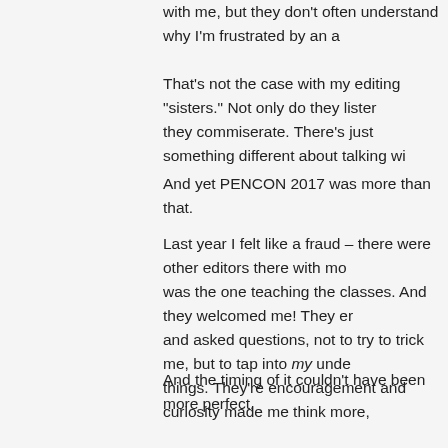with me, but they don't often understand why I'm frustrated by an a
That's not the case with my editing “sisters.” Not only do they listen they commiserate. There’s just something different about talking wi
And yet PENCON 2017 was more than that.
Last year I felt like a fraud – there were other editors there with mo was the one teaching the classes. And they welcomed me! They e and asked questions, not to try to trick me, but to tap into my under things. They’re encouragement and curiosity made me think more,
And the timing of it couldn’t have been more perfect.
As of a year ago, I had only edited two full-length manuscripts. No couldn’t find authors who wanted to work with me. Since Atlanta, h manuscripts, am in the middle of an edit now, and have three edits
Did I meet those authors at PENCON? No. I didn’t even get referra I met are technically my competition – they’re fiction editors who ne confidence, support, and a strength that I needed when I didn’t kno
It’s hard to put into words what PENCON 2017 did for me as an ed frustrating for someone who works with words for a living!). There’s thereils in editing but without l besitation about